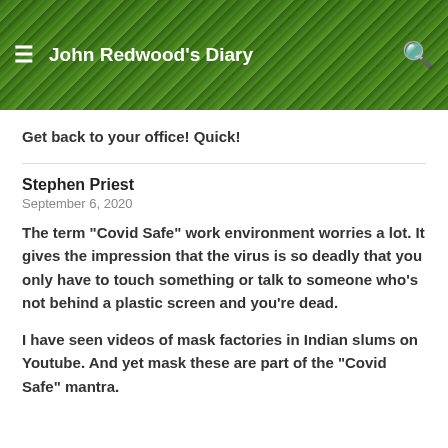[Figure (screenshot): Website header banner with green leafy plant background showing 'John Redwood's Diary' with hamburger menu icon on left and search icon on right]
Get back to your office! Quick!
Stephen Priest
September 6, 2020
The term “Covid Safe” work environment worries a lot. It gives the impression that the virus is so deadly that you only have to touch something or talk to someone who’s not behind a plastic screen and you’re dead.
I have seen videos of mask factories in Indian slums on Youtube. And yet mask these are part of the “Covid Safe” mantra.